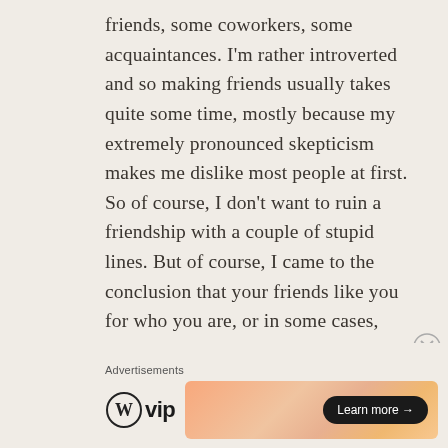friends, some coworkers, some acquaintances. I'm rather introverted and so making friends usually takes quite some time, mostly because my extremely pronounced skepticism makes me dislike most people at first. So of course, I don't want to ruin a friendship with a couple of stupid lines. But of course, I came to the conclusion that your friends like you for who you are, or in some cases, despite of who you are. So I guess that also counts for blogs. By the way, I'm sorry Linda that your
Advertisements
[Figure (other): WordPress VIP advertisement banner with orange gradient background and a 'Learn more →' button]